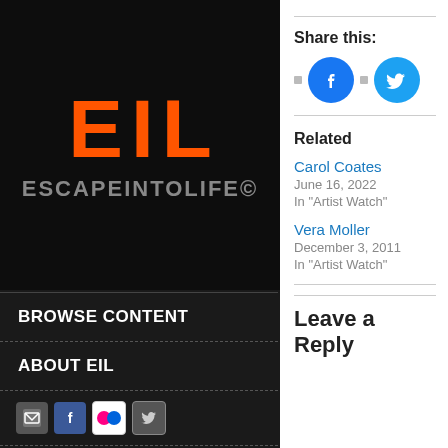[Figure (logo): EIL Escape Into Life logo with large orange block letters E, I, L on dark background and gray ESCAPEINTOLIFE© text below]
BROWSE CONTENT
ABOUT EIL
[Figure (other): Row of social media icons: email, Facebook, Flickr, Twitter]
All Content
Browse by Tag
Share this:
[Figure (other): Facebook and Twitter share buttons as blue circles with icons]
Related
Carol Coates
June 16, 2022
In "Artist Watch"
Vera Moller
December 3, 2011
In "Artist Watch"
Leave a Reply